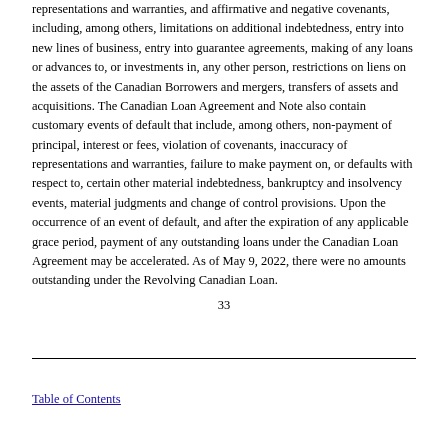representations and warranties, and affirmative and negative covenants, including, among others, limitations on additional indebtedness, entry into new lines of business, entry into guarantee agreements, making of any loans or advances to, or investments in, any other person, restrictions on liens on the assets of the Canadian Borrowers and mergers, transfers of assets and acquisitions. The Canadian Loan Agreement and Note also contain customary events of default that include, among others, non-payment of principal, interest or fees, violation of covenants, inaccuracy of representations and warranties, failure to make payment on, or defaults with respect to, certain other material indebtedness, bankruptcy and insolvency events, material judgments and change of control provisions. Upon the occurrence of an event of default, and after the expiration of any applicable grace period, payment of any outstanding loans under the Canadian Loan Agreement may be accelerated. As of May 9, 2022, there were no amounts outstanding under the Revolving Canadian Loan.
33
Table of Contents